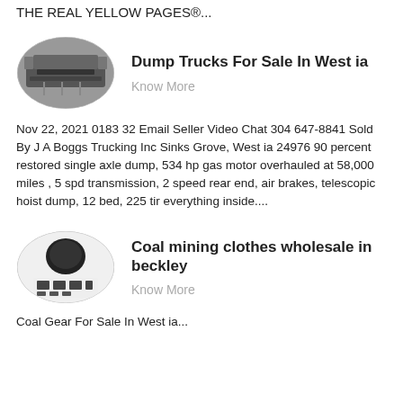THE REAL YELLOW PAGES®...
[Figure (photo): Oval-shaped image of a dump truck or heavy industrial equipment at a worksite]
Dump Trucks For Sale In West ia
Know More
Nov 22, 2021 0183 32 Email Seller Video Chat 304 647-8841 Sold By J A Boggs Trucking Inc Sinks Grove, West ia 24976 90 percent restored single axle dump, 534 hp gas motor overhauled at 58,000 miles , 5 spd transmission, 2 speed rear end, air brakes, telescopic hoist dump, 12 bed, 225 tir everything inside....
[Figure (photo): Oval-shaped image of coal mining clothes or gear, showing black items arranged on a white surface]
Coal mining clothes wholesale in beckley
Know More
Coal Gear For Sale In West ia...